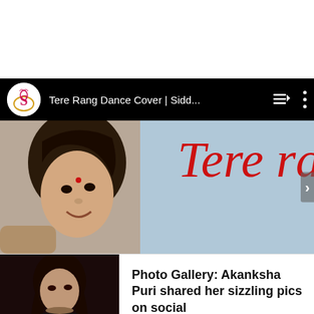[Figure (screenshot): White top area, blank]
[Figure (screenshot): YouTube-style video player with black header bar showing channel logo (stylized S peacock logo), title 'Tere Rang Dance Cover | Sidd...' and playlist/menu icons. Video thumbnail shows a young girl's face and red cursive text 'Tere ra' on grey/blue background.]
[Figure (screenshot): News card showing a woman in black outfit (Akanksha Puri) on the left thumbnail, and text 'Photo Gallery: Akanksha Puri shared her sizzling pics on social' with 'Read Next Story >' link on the right.]
[Figure (screenshot): Bottom strip showing colorful thumbnail with purple/magenta tones, partially visible.]